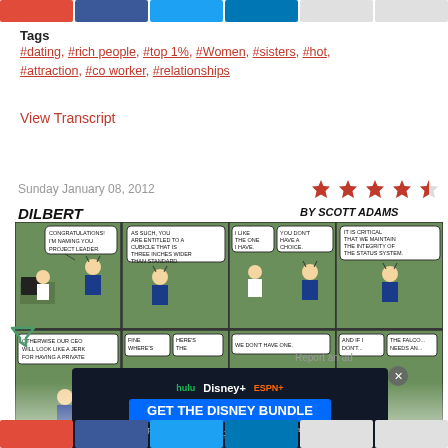[Figure (infographic): Social media share buttons bar at top (email, Facebook, Twitter, LinkedIn, and two others)]
Tags
#dating, #rich people, #top 1%, #Women, #sisters, #hot, #attraction, #co worker, #relationships
View Transcript
Sunday January 08, 2012
[Figure (other): 4.5 out of 5 star rating]
[Figure (illustration): Dilbert comic strip by Scott Adams dated Sunday January 08, 2012. Top row panels: Panel 1: Boss says CONGRATULATIONS! I'M NAMING YOU PROJECT LEADER. Panel 2: AS SUCH, YOU ARE ENTITLED TO A CUBICLE THAT IS THREE INCHES WIDER THAN STANDARD. Panel 3: I LIKE THE ONE I HAVE. / YOU DON'T HAVE A CHOICE. Panel 4: IT IS CRITICAL THAT WE MAINTAIN THE INTEGRITY OF THE STATUS SYSTEM. Bottom row panels partially visible: OTHERWISE OUR CEO WILL LOOK LIKE A JERK FOR HAVING A PRIVATE... / FINE WHERE'S THE... / HERE'S THE... / WE DON'T HAVE ONE. / AND IF I DON'T... / THE FALCO... NEEDS AN...]
[Figure (screenshot): Advertisement for Disney Bundle: GET THE DISNEY BUNDLE with Hulu, Disney+, ESPN+ logos. Fine print: Incl. Hulu (ad-supported) or Hulu (No Ads). Access content from each service separately. ©2021 Disney and its related entities.]
[Figure (infographic): Social media share buttons bar at bottom (email, Facebook, Twitter, LinkedIn and others)]